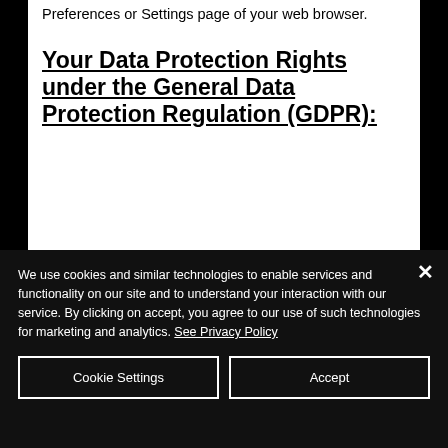Preferences or Settings page of your web browser.
Your Data Protection Rights under the General Data Protection Regulation (GDPR):
We use cookies and similar technologies to enable services and functionality on our site and to understand your interaction with our service. By clicking on accept, you agree to our use of such technologies for marketing and analytics. See Privacy Policy
Cookie Settings
Accept